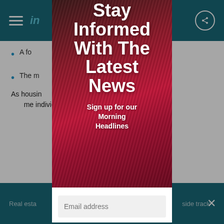in
A for... rab micr... Cali...
The m... et and stack...
As housin... issue of how to ho... me individua... leasingly importan...
[Figure (screenshot): Modal newsletter signup overlay on top of article page with corrugated red metal background image. Title reads 'Stay Informed With The Latest News'. Subtitle: 'Sign up for our Morning Headlines'. Email address input field at bottom.]
Real esta... side track